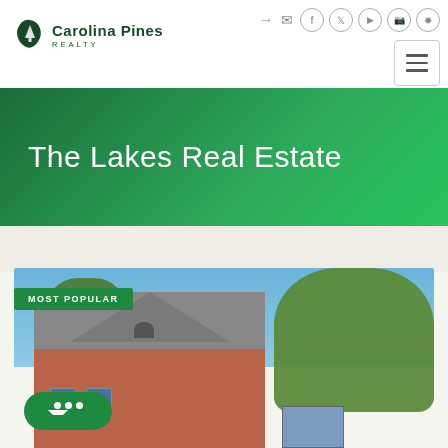Carolina Pines Realty — website header with social icons and hamburger menu
The Lakes Real Estate
[Figure (photo): Exterior photo of a brick home with trees and blue sky, labeled MOST POPULAR]
MOST POPULAR